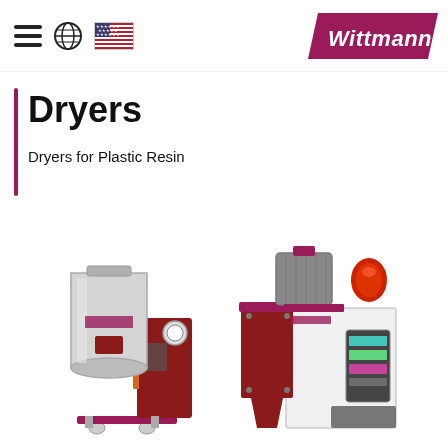Wittmann navigation header with hamburger menu, globe icon, US flag, and Wittmann logo
Dryers
Dryers for Plastic Resin
[Figure (photo): Two Wittmann industrial plastic resin dryers side by side: left is a large hopper dryer with stainless steel tank and dark red control unit on wheels; right is a compact DRYMAX dryer unit with touchscreen display and red warning light on top]